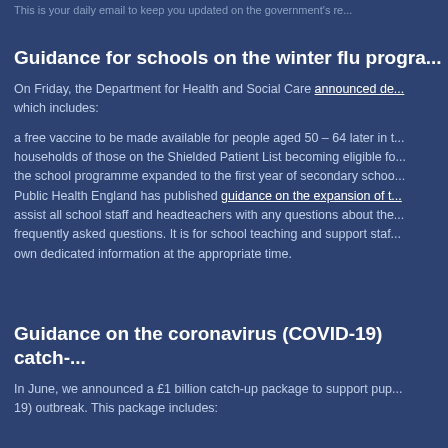This is your daily email to keep you updated on the government's re...
Guidance for schools on the winter flu progra...
On Friday, the Department for Health and Social Care announced de... which includes:
a free vaccine to be made available for people aged 50 – 64 later in t... households of those on the Shielded Patient List becoming eligible fo... the school programme expanded to the first year of secondary schoo... Public Health England has published guidance on the expansion of t... assist all school staff and headteachers with any questions about the... frequently asked questions. It is for school teaching and support staf... own dedicated information at the appropriate time.
Guidance on the coronavirus (COVID-19) catch-...
In June, we announced a £1 billion catch-up package to support pup... 19) outbreak. This package includes: